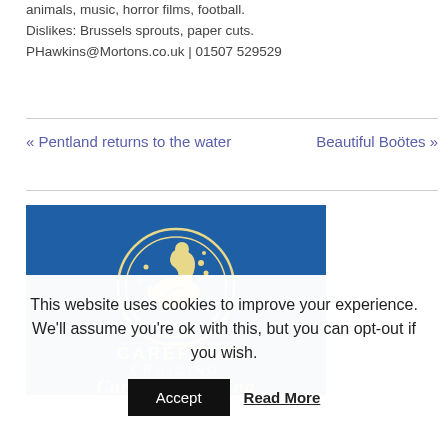animals, music, horror films, football. Dislikes: Brussels sprouts, paper cuts. PHawkins@Mortons.co.uk | 01507 529529
« Pentland returns to the water
Beautiful Boötes »
[Figure (logo): Carefree Cruising logo: blue background with cream swan in circular design, text CAREFREE CRUISING below, and 'Carefree Cruising' in italic cream serif font at bottom]
This website uses cookies to improve your experience. We'll assume you're ok with this, but you can opt-out if you wish.
Accept
Read More